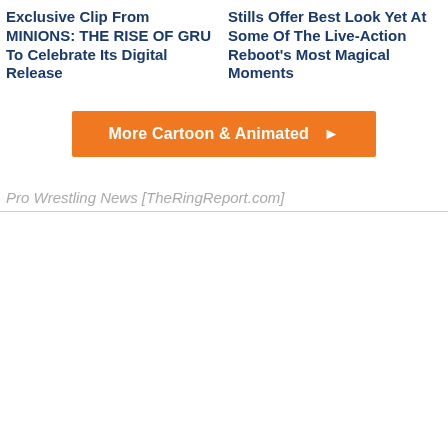Exclusive Clip From MINIONS: THE RISE OF GRU To Celebrate Its Digital Release
Stills Offer Best Look Yet At Some Of The Live-Action Reboot's Most Magical Moments
More Cartoon & Animated ▶
Pro Wrestling News [TheRingReport.com]